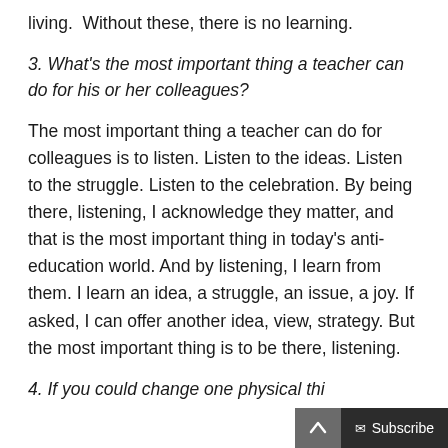living. Without these, there is no learning.
3. What's the most important thing a teacher can do for his or her colleagues?
The most important thing a teacher can do for colleagues is to listen. Listen to the ideas. Listen to the struggle. Listen to the celebration. By being there, listening, I acknowledge they matter, and that is the most important thing in today's anti-education world. And by listening, I learn from them. I learn an idea, a struggle, an issue, a joy. If asked, I can offer another idea, view, strategy. But the most important thing is to be there, listening.
4. If you could change one physical thi…